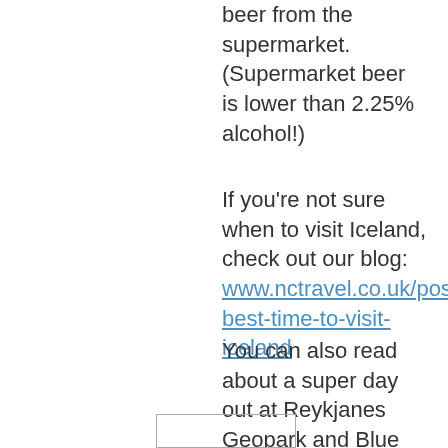beer from the supermarket. (Supermarket beer is lower than 2.25% alcohol!)
If you're not sure when to visit Iceland, check out our blog: www.nctravel.co.uk/post/the-best-time-to-visit-iceland
You can also read about a super day out at Reykjanes Geopark and Blue Lagoon: www.nctravel.co.uk/post/a-day-at-reykjanes-geopark-and-the-blue-lagoon-iceland